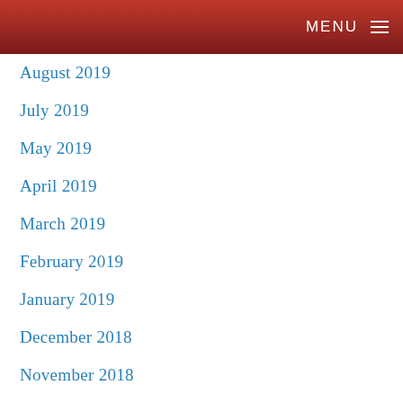MENU
August 2019
July 2019
May 2019
April 2019
March 2019
February 2019
January 2019
December 2018
November 2018
October 2018
September 2018
June 2018